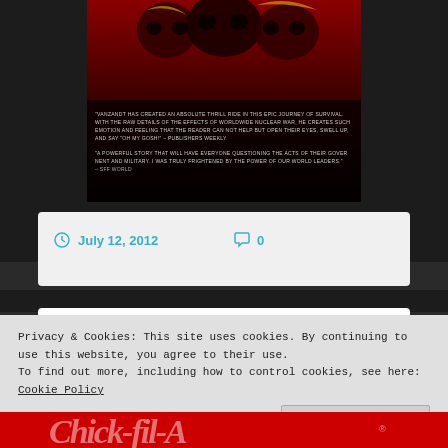[Figure (photo): Book cover with dark red/black background showing skull/mask imagery with decorative elements, with two review quotes overlaid on lower portion]
"VanZandt has created an absolute thrill ride in this epic journey of survival. With the raw details of the effects of worldwide nuclear war, he creates such emotion and feeling that the reader can not help but open their eyes, swell up, and say 'Oh my gosh!' – Publishers Weekly
"A powerful story that will have everyone questioning the acts of their government and military. I was truly frightened by the power of our world leaders." – SFF World
July 12, 2012   0
Chic-Fil-A Digital Menu Board
Privacy & Cookies: This site uses cookies. By continuing to use this website, you agree to their use.
To find out more, including how to control cookies, see here: Cookie Policy
Close and accept
[Figure (logo): Chic-fil-A logo in red cursive script at the bottom of the page]